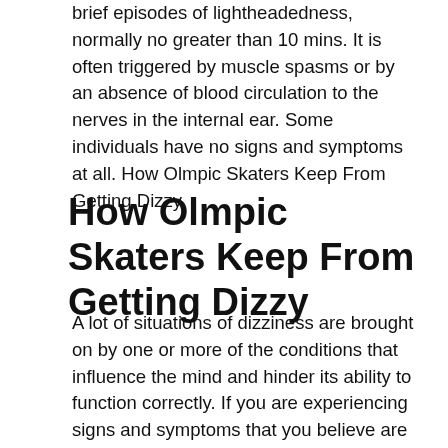brief episodes of lightheadedness, normally no greater than 10 mins. It is often triggered by muscle spasms or by an absence of blood circulation to the nerves in the internal ear. Some individuals have no signs and symptoms at all. How Olmpic Skaters Keep From Getting Dizzy
How Olmpic Skaters Keep From Getting Dizzy
A lot of situations of dizziness are brought on by one or more of the conditions that influence the mind and hinder its ability to function correctly. If you are experiencing signs and symptoms that you believe are vertigo, your medical professional will most likely recommend antihistamines or tricyclic